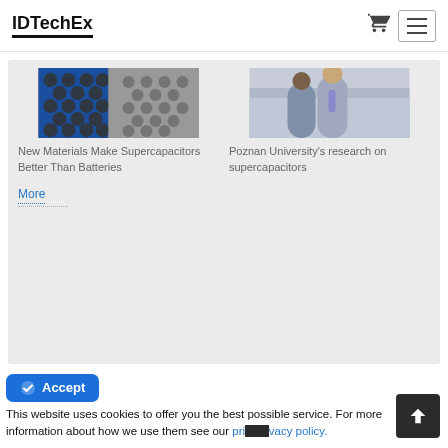IDTechEx
[Figure (screenshot): Thumbnail image of supercapacitor battery materials]
New Materials Make Supercapacitors Better Than Batteries
[Figure (screenshot): Thumbnail image of two people at Poznan University]
Poznan University's research on supercapacitors
More
This website uses cookies to offer you the best possible service. For more information about how we use them see our privacy policy.